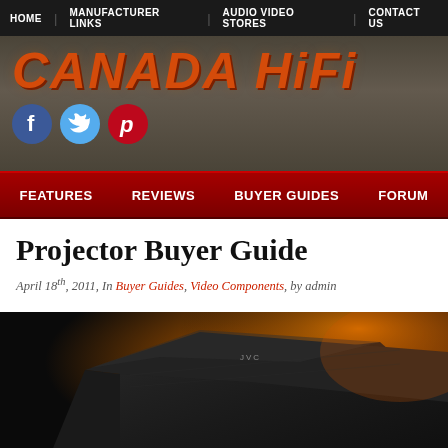HOME | MANUFACTURER LINKS | AUDIO VIDEO STORES | CONTACT US
[Figure (logo): Canada HiFi logo with orange stylized text on dark brown/grey background, with Facebook, Twitter, and Pinterest social media icon buttons below]
FEATURES | REVIEWS | BUYER GUIDES | FORUM
Projector Buyer Guide
April 18th, 2011, In Buyer Guides, Video Components, by admin
[Figure (photo): Close-up photo of a dark/black projector with orange ambient lighting, JVC branding visible, dramatic studio lighting]